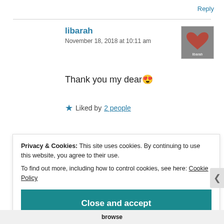Reply
libarah
November 18, 2018 at 10:11 am
Thank you my dear 😍
★ Liked by 2 people
Privacy & Cookies: This site uses cookies. By continuing to use this website, you agree to their use.
To find out more, including how to control cookies, see here: Cookie Policy
Close and accept